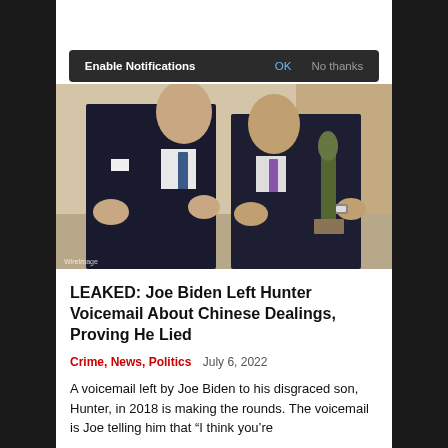[Figure (screenshot): Browser notification prompt with dark background showing 'Enable Notifications', 'OK', and 'No thanks' options]
[Figure (photo): Two men in dark suits standing with arms crossed; one wearing a blue tie, the other a purple tie, with a bronze statue visible in the background]
LEAKED: Joe Biden Left Hunter Voicemail About Chinese Dealings, Proving He Lied
Crime, News, Politics   July 6, 2022
A voicemail left by Joe Biden to his disgraced son, Hunter, in 2018 is making the rounds. The voicemail is Joe telling him that "I think you're